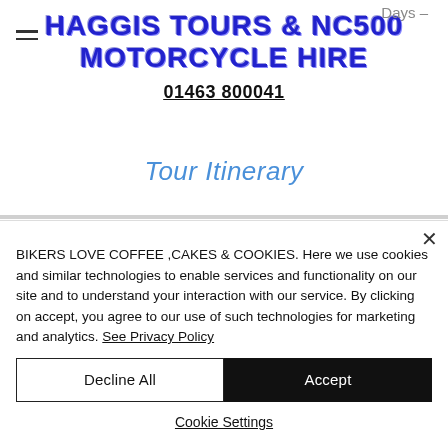Days –
HAGGIS TOURS & NC500 MOTORCYCLE HIRE
01463 800041
Tour Itinerary
BIKERS LOVE COFFEE ,CAKES & COOKIES. Here we use cookies and similar technologies to enable services and functionality on our site and to understand your interaction with our service. By clicking on accept, you agree to our use of such technologies for marketing and analytics. See Privacy Policy
Decline All
Accept
Cookie Settings